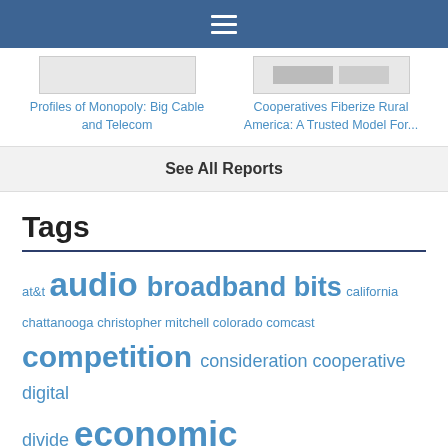Navigation bar with hamburger menu
Profiles of Monopoly: Big Cable and Telecom
Cooperatives Fiberize Rural America: A Trusted Model For...
See All Reports
Tags
at&t audio broadband bits california chattanooga christopher mitchell colorado comcast competition consideration cooperative digital divide economic development event fcc federal fiber financing FTTH gigabit grant legislation local media roundup minnesota muni north carolina open access partnership podcast preemption